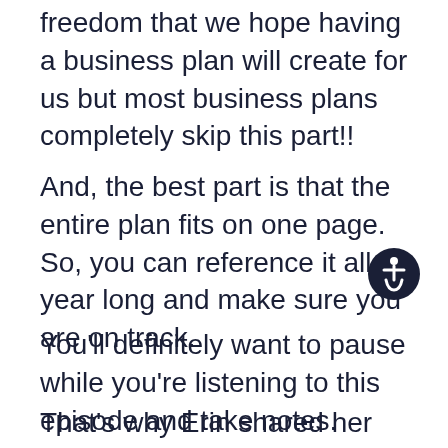freedom that we hope having a business plan will create for us but most business plans completely skip this part!!
And, the best part is that the entire plan fits on one page. So, you can reference it all year long and make sure you are on track.
You'll definitely want to pause while you're listening to this episode and take notes.
That's why Erin shared her one-page lifestyle and business planning worksheet–